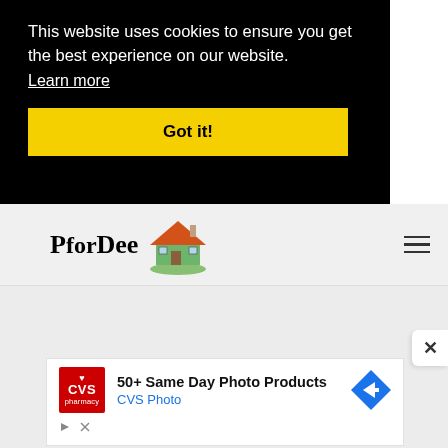This website uses cookies to ensure you get the best experience on our website.
Learn more
Got it!
[Figure (logo): PforDee logo with house illustration and serif/sans-serif text]
[Figure (screenshot): Advertisement: 50+ Same Day Photo Products - CVS Photo, with CVS pharmacy red logo and blue diamond arrow icon]